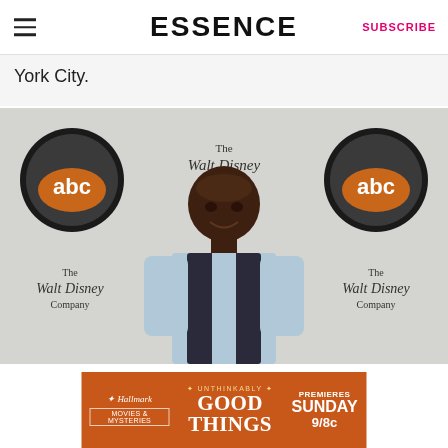ESSENCE | SUBSCRIBE
York City.
[Figure (photo): A man in a black vest and light blue shirt posing in front of a backdrop with ABC and The Walt Disney Company logos]
[Figure (infographic): Hallmark Movies & Mysteries advertisement for 'Unthinkably Good Things', premieres Sunday 9/8c]